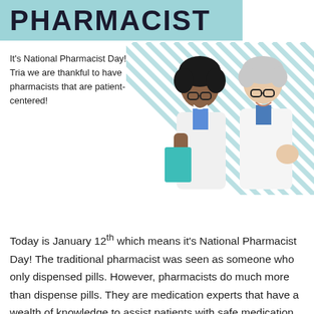PHARMACIST
It's National Pharmacist Day! At Tria we are thankful to have pharmacists that are patient-centered!
[Figure (photo): Two pharmacists in white lab coats, one younger with dark curly hair and glasses holding a clipboard, one older with short gray hair and glasses, both smiling. Diagonal teal stripe background pattern behind them.]
Today is January 12th which means it's National Pharmacist Day! The traditional pharmacist was seen as someone who only dispensed pills. However, pharmacists do much more than dispense pills. They are medication experts that have a wealth of knowledge to assist patients with safe medication use, potential drug interactions as well as preventative services and over the counter medications.